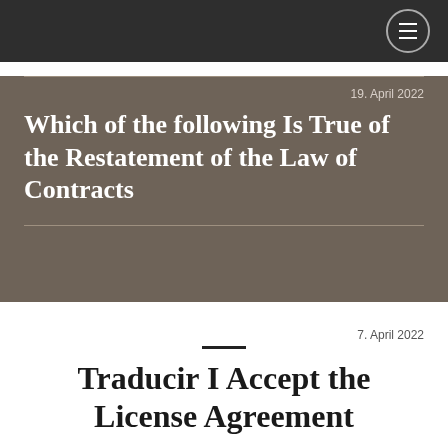☰
19. April 2022
Which of the following Is True of the Restatement of the Law of Contracts
7. April 2022
Traducir I Accept the License Agreement